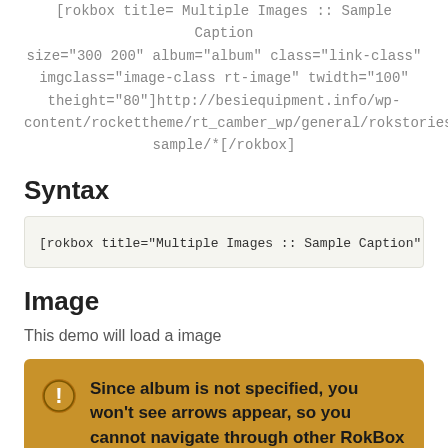[rokbox title= Multiple Images :: Sample Caption size="300 200" album="album" class="link-class" imgclass="image-class rt-image" twidth="100" theight="80"]http://besiequipment.info/wp-content/rockettheme/rt_camber_wp/general/rokstories-sample/*[/rokbox]
Syntax
[rokbox title="Multiple Images :: Sample Caption" size="300 20...
Image
This demo will load a image
Since album is not specified, you won't see arrows appear, so you cannot navigate through other RokBox links.